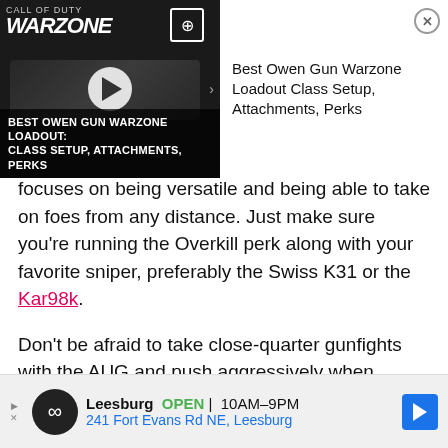[Figure (screenshot): Video banner overlay showing a Warzone game thumbnail with play button, and title 'Best Owen Gun Warzone Loadout Class Setup, Attachments, Perks' on the right with a close button]
focuses on being versatile and being able to take on foes from any distance. Just make sure you're running the Overkill perk along with your favorite sniper, preferably the Swiss K31 or the Kar98k.
Don't be afraid to take close-quarter gunfights with the AUG and push aggressively when necessary. The weapon packs a lot of power and is another loadout to add your arsenal ahead of the Pacific update on December 8.
[Figure (screenshot): Advertisement banner for Leesburg store showing logo, OPEN status, hours 10AM-9PM, and address 241 Fort Evans Rd NE, Leesburg with navigation icon]